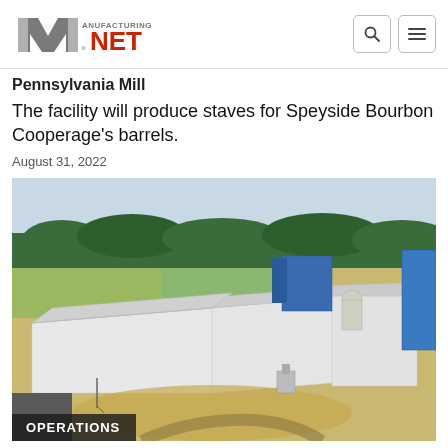Manufacturing.net
Pennsylvania Mill
The facility will produce staves for Speyside Bourbon Cooperage's barrels.
August 31, 2022
[Figure (photo): Aerial drone view of a large white industrial manufacturing facility with metal roof panels, surrounded by sandy/gravel ground, with a blue building structure visible in the background and tree line on the horizon.]
OPERATIONS